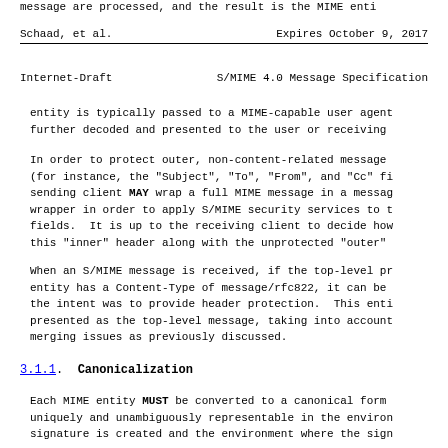message are processed, and the result is the MIME enti...
Schaad, et al.          Expires October 9, 2017
Internet-Draft      S/MIME 4.0 Message Specification
entity is typically passed to a MIME-capable user agent further decoded and presented to the user or receiving
In order to protect outer, non-content-related message (for instance, the "Subject", "To", "From", and "Cc" fi sending client MAY wrap a full MIME message in a messag wrapper in order to apply S/MIME security services to t fields.  It is up to the receiving client to decide how this "inner" header along with the unprotected "outer"
When an S/MIME message is received, if the top-level pr entity has a Content-Type of message/rfc822, it can be the intent was to provide header protection.  This enti presented as the top-level message, taking into account merging issues as previously discussed.
3.1.1.  Canonicalization
Each MIME entity MUST be converted to a canonical form uniquely and unambiguously representable in the environ signature is created and the environment where the sign